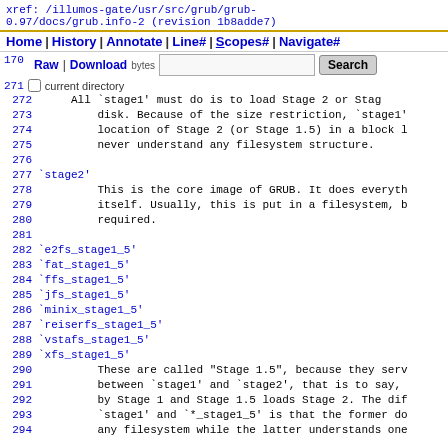xref: /illumos-gate/usr/src/grub/grub-0.97/docs/grub.info-2 (revision 1b8adde7)
Home | History | Annotate | Line# | Scopes# | Navigate#
170 Raw | Download [bytes] [Search]
271
272  All `stage1' must do is to load Stage 2 or Stag
273       disk. Because of the size restriction, `stage1'
274       location of Stage 2 (or Stage 1.5) in a block l
275       never understand any filesystem structure.
276
277 `stage2'
278       This is the core image of GRUB. It does everyth
279       itself. Usually, this is put in a filesystem, b
280       required.
281
282 `e2fs_stage1_5'
283 `fat_stage1_5'
284 `ffs_stage1_5'
285 `jfs_stage1_5'
286 `minix_stage1_5'
287 `reiserfs_stage1_5'
288 `vstafs_stage1_5'
289 `xfs_stage1_5'
290       These are called "Stage 1.5", because they serv
291       between `stage1' and `stage2', that is to say,
292       by Stage 1 and Stage 1.5 loads Stage 2. The dif
293       `stage1' and `*_stage1_5' is that the former do
294       any filesystem while the latter understands one